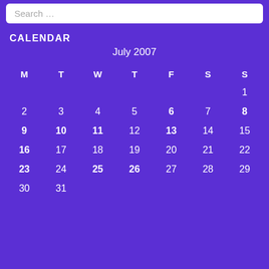Search …
CALENDAR
| M | T | W | T | F | S | S |
| --- | --- | --- | --- | --- | --- | --- |
|  |  |  |  |  |  | 1 |
| 2 | 3 | 4 | 5 | 6 | 7 | 8 |
| 9 | 10 | 11 | 12 | 13 | 14 | 15 |
| 16 | 17 | 18 | 19 | 20 | 21 | 22 |
| 23 | 24 | 25 | 26 | 27 | 28 | 29 |
| 30 | 31 |  |  |  |  |  |